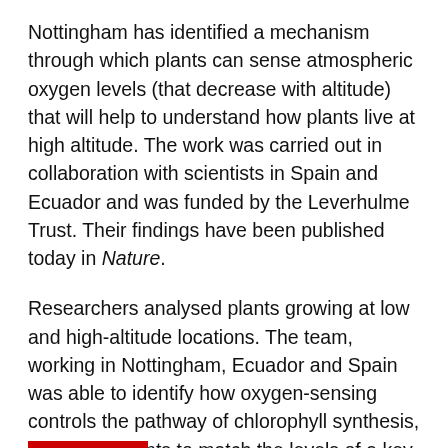Nottingham has identified a mechanism through which plants can sense atmospheric oxygen levels (that decrease with altitude) that will help to understand how plants live at high altitude. The work was carried out in collaboration with scientists in Spain and Ecuador and was funded by the Leverhulme Trust. Their findings have been published today in Nature.
Researchers analysed plants growing at low and high-altitude locations. The team, working in Nottingham, Ecuador and Spain was able to identify how oxygen-sensing controls the pathway of chlorophyll synthesis, permitting plants to match the levels of a key toxic chemical to surrounding oxygen levels.
Climate change is leading to the displacement of wild species and crops (for example coffee) to higher altitudes, this research offers new insights into the